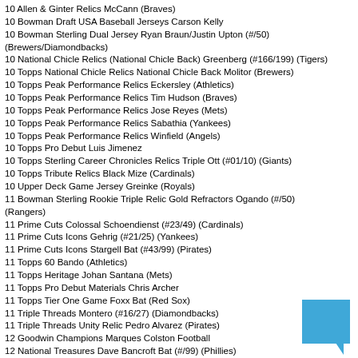10 Allen & Ginter Relics McCann (Braves)
10 Bowman Draft USA Baseball Jerseys Carson Kelly
10 Bowman Sterling Dual Jersey Ryan Braun/Justin Upton (#/50) (Brewers/Diamondbacks)
10 National Chicle Relics (National Chicle Back) Greenberg (#166/199) (Tigers)
10 Topps National Chicle Relics National Chicle Back Molitor (Brewers)
10 Topps Peak Performance Relics Eckersley (Athletics)
10 Topps Peak Performance Relics Tim Hudson (Braves)
10 Topps Peak Performance Relics Jose Reyes (Mets)
10 Topps Peak Performance Relics Sabathia (Yankees)
10 Topps Peak Performance Relics Winfield (Angels)
10 Topps Pro Debut Luis Jimenez
10 Topps Sterling Career Chronicles Relics Triple Ott (#01/10) (Giants)
10 Topps Tribute Relics Black Mize (Cardinals)
10 Upper Deck Game Jersey Greinke (Royals)
11 Bowman Sterling Rookie Triple Relic Gold Refractors Ogando (#/50) (Rangers)
11 Prime Cuts Colossal Schoendienst (#23/49) (Cardinals)
11 Prime Cuts Icons Gehrig (#21/25) (Yankees)
11 Prime Cuts Icons Stargell Bat (#43/99) (Pirates)
11 Topps 60 Bando (Athletics)
11 Topps Heritage Johan Santana (Mets)
11 Topps Pro Debut Materials Chris Archer
11 Topps Tier One Game Foxx Bat (Red Sox)
11 Triple Threads Montero (#16/27) (Diamondbacks)
11 Triple Threads Unity Relic Pedro Alvarez (Pirates)
12 Goodwin Champions Marques Colston Football
12 National Treasures Dave Bancroft Bat (#/99) (Phillies)
12 National Treasures Stanky Jersey (#04/99) (Cubs)
12 Topps Golden Moments Starlin Castro (Cubs)
12 Topps Golden Moments Reggie Jackson (Angels)
12 Topps Archives 1956 Relic B.J. Upton (Rays)
12 Topps Heritage Clubhouse Collection Carlos Gonzalez (Rockies)